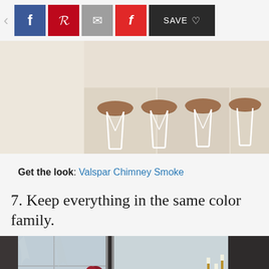[Figure (screenshot): Social sharing toolbar with back arrow, Facebook, Pinterest, Email, Flipboard buttons and Save button]
[Figure (photo): Interior photo showing white wire bar stools with wooden seats lined up along a counter, with a plant and shelves visible to the right]
Get the look: Valspar Chimney Smoke
7. Keep everything in the same color family.
[Figure (photo): Dark moody kitchen photo showing a countertop with a red flower in a vase, a black round vase, brass candlesticks, and a window with snowy trees outside]